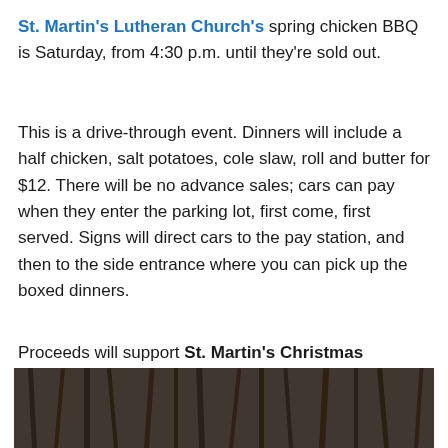St. Martin's Lutheran Church's spring chicken BBQ is Saturday, from 4:30 p.m. until they're sold out.
This is a drive-through event. Dinners will include a half chicken, salt potatoes, cole slaw, roll and butter for $12. There will be no advance sales; cars can pay when they enter the parking lot, first come, first served. Signs will direct cars to the pay station, and then to the side entrance where you can pick up the boxed dinners.
Proceeds will support St. Martin's Christmas Stocking Project which reaches more than 500 youth in Monroe and Wayne counties.
[Figure (photo): Outdoor winter forest scene with bare deciduous trees and branches, brownish-grey ground, natural woodland setting.]